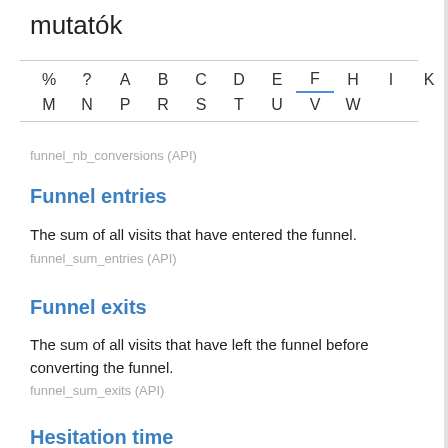mutatók
% ? A B C D E F H I K M N P R S T U V W
funnel_nb_conversions (API)
Funnel entries
The sum of all visits that have entered the funnel.
funnel_sum_entries (API)
Funnel exits
The sum of all visits that have left the funnel before converting the funnel.
funnel_sum_exits (API)
Hesitation time